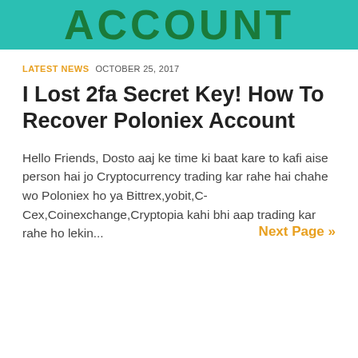[Figure (other): Teal/green banner header with bold dark green text reading 'ACCOUNT']
LATEST NEWS  OCTOBER 25, 2017
I Lost 2fa Secret Key! How To Recover Poloniex Account
Hello Friends, Dosto aaj ke time ki baat kare to kafi aise person hai jo Cryptocurrency trading kar rahe hai chahe wo Poloniex ho ya Bittrex,yobit,C-Cex,Coinexchange,Cryptopia kahi bhi aap trading kar rahe ho lekin...
Next Page »